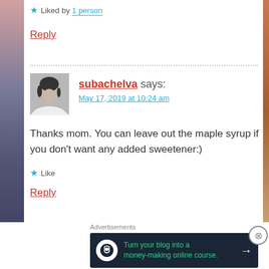★ Liked by 1 person
Reply
subachelva says:
May 17, 2019 at 10:24 am
Thanks mom. You can leave out the maple syrup if you don't want any added sweetener:)
★ Like
Reply
[Figure (infographic): Advertisement banner: dark background with Teachable logo icon, text 'Turn your blog into a money-making online course.' and right arrow]
Advertisements